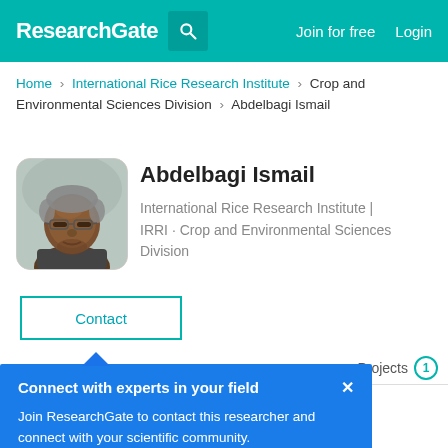ResearchGate | Join for free | Login
Home > International Rice Research Institute > Crop and Environmental Sciences Division > Abdelbagi Ismail
[Figure (photo): Profile photo of Abdelbagi Ismail, an older man with short gray hair and glasses]
Abdelbagi Ismail
International Rice Research Institute | IRRI · Crop and Environmental Sciences Division
Contact
Projects 1
Connect with experts in your field ×
Join ResearchGate to contact this researcher and connect with your scientific community.